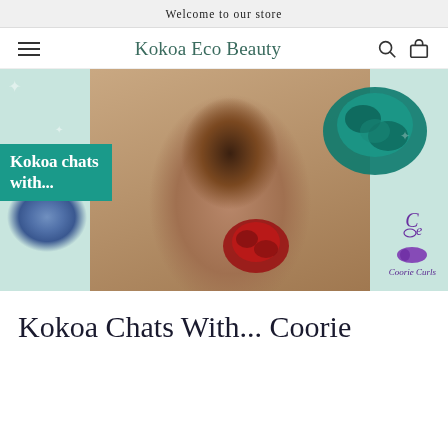Welcome to our store
Kokoa Eco Beauty
[Figure (photo): Hero banner image for Kokoa Eco Beauty blog post 'Kokoa chats with... Coorie Curls'. Shows a smiling Black woman wearing a headwrap/turban, surrounded by colourful satin scrunchies (blue, teal, red). Text overlay reads 'Kokoa chats with...' on a teal background. Coorie Curls branding visible in bottom right.]
Kokoa Chats With... Coorie